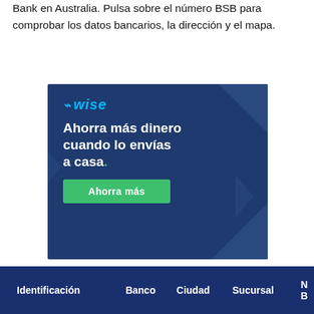Bank en Australia. Pulsa sobre el número BSB para comprobar los datos bancarios, la dirección y el mapa.
[Figure (infographic): Wise advertisement banner with dark blue background. Shows the Wise logo (lightning bolt icon + 'wise' in cyan italic), a headline 'Ahorra más dinero cuando lo envías a casa.' with the period in green, and a green button 'Ahorra más'. Decorative blue triangles in corners.]
| Identificación | Banco | Ciudad | Sucursal | N... B... |
| --- | --- | --- | --- | --- |